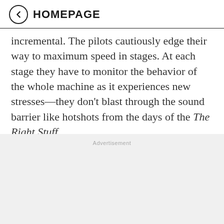HOMEPAGE
incremental. The pilots cautiously edge their way to maximum speed in stages. At each stage they have to monitor the behavior of the whole machine as it experiences new stresses—they don't blast through the sound barrier like hotshots from the days of the The Right Stuff.
Advertisement